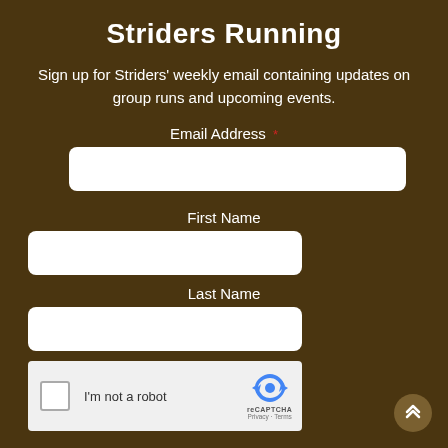Striders Running
Sign up for Striders' weekly email containing updates on group runs and upcoming events.
Email Address *
First Name
Last Name
[Figure (other): reCAPTCHA widget with checkbox labeled I'm not a robot and reCAPTCHA logo with Privacy and Terms links]